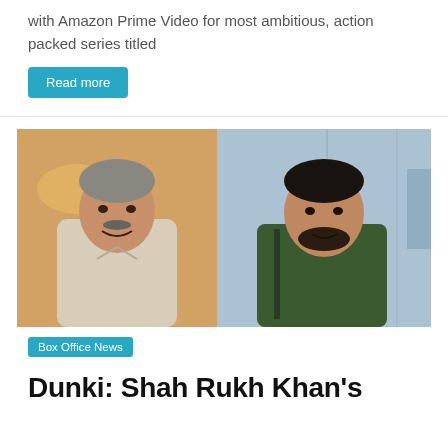with Amazon Prime Video for most ambitious, action packed series titled
Read more
[Figure (photo): Two people side by side: a man with grey hair and mustache smiling in a light linen shirt on the left (against a warm golden/orange background), and a man with dark hair and beard in a dark green t-shirt on the right (against a modern office/corridor background).]
Box Office News
Dunki: Shah Rukh Khan's